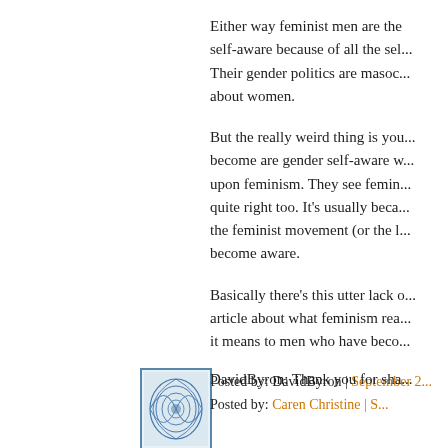Either way feminist men are the self-aware because of all the sel... Their gender politics are masoch... about women.
But the really weird thing is you... become are gender self-aware w... upon feminism. They see femin... quite right too. It's usually beca... the feminist movement (or the l... become aware.
Basically there's this utter lack o... article about what feminism rea... it means to men who have beco...
Posted by: DavidByron | September 2...
[Figure (illustration): Blue avatar/profile icon with swirling pattern, bordered in blue]
DavidByron: Thank you for sha...
Posted by: Caren Christine | S...